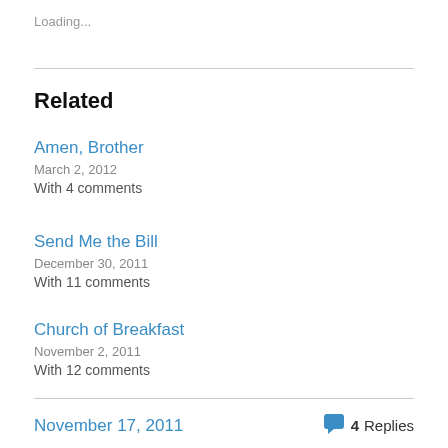Loading...
Related
Amen, Brother
March 2, 2012
With 4 comments
Send Me the Bill
December 30, 2011
With 11 comments
Church of Breakfast
November 2, 2011
With 12 comments
November 17, 2011   4 Replies